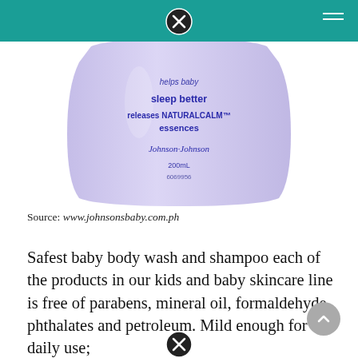[Figure (photo): Johnson's Baby bedtime lotion/shampoo bottle in light purple color showing text: 'sleep better releases NATURALCALM essences Johnson & Johnson 200mL 6069956']
Source: www.johnsonsbaby.com.ph
Safest baby body wash and shampoo each of the products in our kids and baby skincare line is free of parabens, mineral oil, formaldehyde, phthalates and petroleum. Mild enough for daily use;